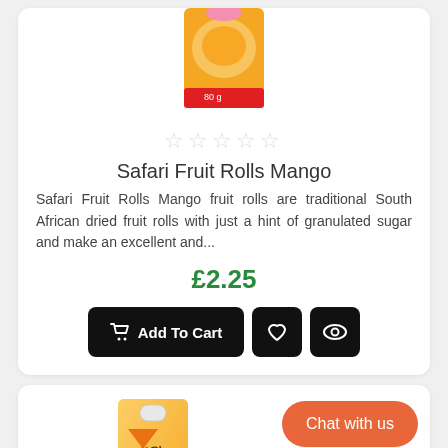[Figure (photo): Product image of Safari Fruit Rolls Mango package, orange/red packaging with mango imagery, 80g label visible]
☆☆☆☆☆
Safari Fruit Rolls Mango
Safari Fruit Rolls Mango fruit rolls are traditional South African dried fruit rolls with just a hint of granulated sugar and make an excellent and...
£2.25
Add To Cart
[Figure (photo): Product image of Safari Apricot fruit roll package, orange/yellow packaging]